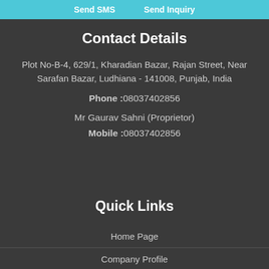Send SMS   Send Inquiry
Contact Details
Plot No-B-4, 629/1, Kharadian Bazar, Rajan Street, Near Sarafan Bazar, Ludhiana - 141008, Punjab, India
Phone :08037402856
Mr Gaurav Sahni (Proprietor)
Mobile :08037402856
Quick Links
Home Page
Company Profile
Our Products